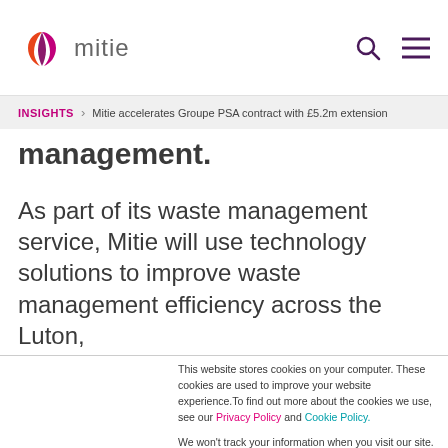mitie
INSIGHTS  >  Mitie accelerates Groupe PSA contract with £5.2m extension
management.
As part of its waste management service, Mitie will use technology solutions to improve waste management efficiency across the Luton,
This website stores cookies on your computer. These cookies are used to improve your website experience.To find out more about the cookies we use, see our Privacy Policy and Cookie Policy.

We won't track your information when you visit our site. But in order to comply with your preferences, we'll have to use a cookie so that you're not asked to make this choice again.
Accept
Decline